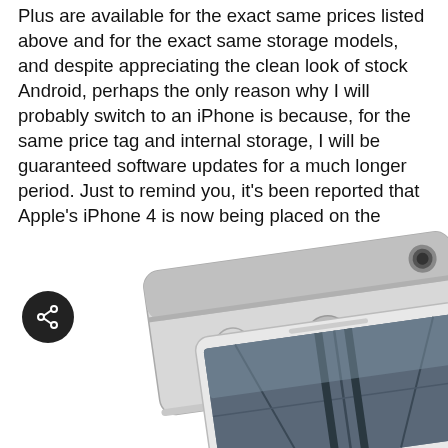Plus are available for the exact same prices listed above and for the exact same storage models, and despite appreciating the clean look of stock Android, perhaps the only reason why I will probably switch to an iPhone is because, for the same price tag and internal storage, I will be guaranteed software updates for a much longer period. Just to remind you, it's been reported that Apple's iPhone 4 is now being placed on the obsolete list later this month.
[Figure (photo): Two smartphones (Google Pixel phones) shown from above and side angle — one silver/white viewed from the back, one white viewed from the front showing a bridge photo on the screen, with a charging cable attached. A dark circular share icon is visible on the left side.]